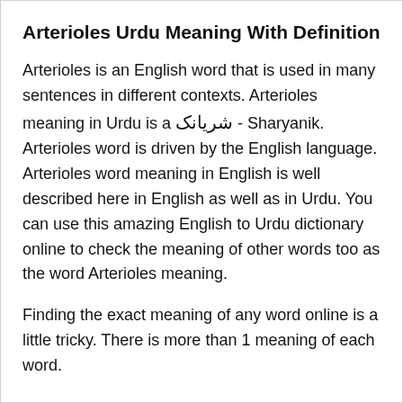Arterioles Urdu Meaning With Definition
Arterioles is an English word that is used in many sentences in different contexts. Arterioles meaning in Urdu is a شریانک - Sharyanik. Arterioles word is driven by the English language. Arterioles word meaning in English is well described here in English as well as in Urdu. You can use this amazing English to Urdu dictionary online to check the meaning of other words too as the word Arterioles meaning.
Finding the exact meaning of any word online is a little tricky. There is more than 1 meaning of each word.